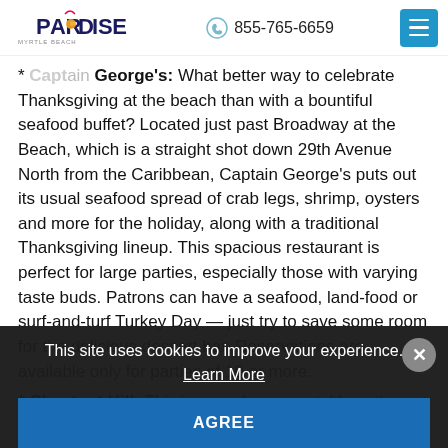Paradise Myrtle Beach | 855-765-6659
* Captain George's: What better way to celebrate Thanksgiving at the beach than with a bountiful seafood buffet? Located just past Broadway at the Beach, which is a straight shot down 29th Avenue North from the Caribbean, Captain George's puts out its usual seafood spread of crab legs, shrimp, oysters and more for the holiday, along with a traditional Thanksgiving lineup. This spacious restaurant is perfect for large parties, especially those with varying taste buds. Patrons can have a seafood, land-food or surf-and-turf Turkey Day — just try to save some room for the delicious dessert bar. Reservations are available only for parties of 10 or more.
* Chestnut Hill: This is one of our guests' favorite
This site uses cookies to improve your experience.
Learn More
AGREE